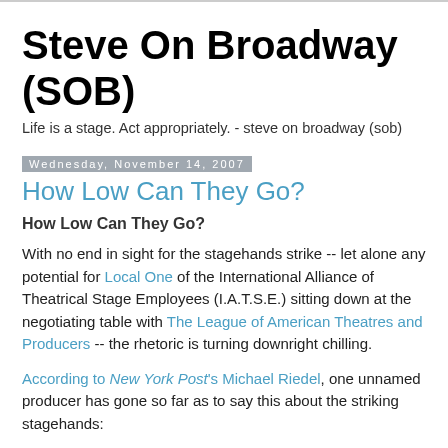Steve On Broadway (SOB)
Life is a stage. Act appropriately. - steve on broadway (sob)
Wednesday, November 14, 2007
How Low Can They Go?
How Low Can They Go?
With no end in sight for the stagehands strike -- let alone any potential for Local One of the International Alliance of Theatrical Stage Employees (I.A.T.S.E.) sitting down at the negotiating table with The League of American Theatres and Producers -- the rhetoric is turning downright chilling.
According to New York Post's Michael Riedel, one unnamed producer has gone so far as to say this about the striking stagehands: